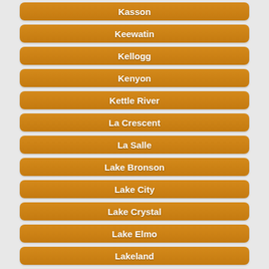Kasson
Keewatin
Kellogg
Kenyon
Kettle River
La Crescent
La Salle
Lake Bronson
Lake City
Lake Crystal
Lake Elmo
Lakeland
Lakeville